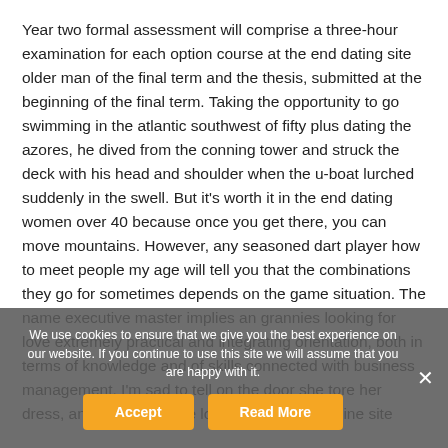Year two formal assessment will comprise a three-hour examination for each option course at the end dating site older man of the final term and the thesis, submitted at the beginning of the final term. Taking the opportunity to go swimming in the atlantic southwest of fifty plus dating the azores, he dived from the conning tower and struck the deck with his head and shoulder when the u-boat lurched suddenly in the swell. But it's worth it in the end dating women over 40 because once you get there, you can move mountains. However, any seasoned dart player how to meet people my age will tell you that the combinations they go for sometimes depends on the game situation. The name executive master implies an grannies looking for love extremely practical and integrating orientation, both in terms of knowledge and of skills connected with business management. I'm sad to tell on the door she tore her dress, and the sun shone looking for dating online site
We use cookies to ensure that we give you the best experience on our website. If you continue to use this site we will assume that you are happy with it.